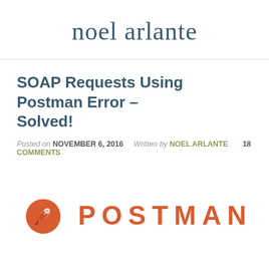noel arlante
SOAP Requests Using Postman Error – Solved!
Posted on NOVEMBER 6, 2016   Written by NOEL ARLANTE   18 COMMENTS
[Figure (logo): Postman logo: orange circle with a rocket/pen icon and the word POSTMAN in orange letters]